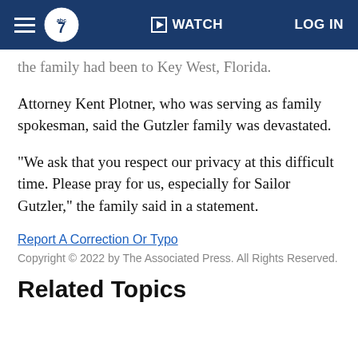ABC7 | WATCH | LOG IN
the family had been to Key West, Florida.
Attorney Kent Plotner, who was serving as family spokesman, said the Gutzler family was devastated.
"We ask that you respect our privacy at this difficult time. Please pray for us, especially for Sailor Gutzler," the family said in a statement.
Report A Correction Or Typo
Copyright © 2022 by The Associated Press. All Rights Reserved.
Related Topics